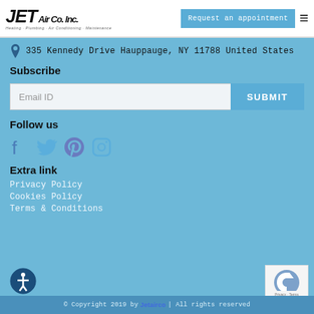JET Air Co. Inc. | Heating · Plumbing · Air Conditioning · Maintenance | Request an appointment
335 Kennedy Drive Hauppauge, NY 11788 United States
Subscribe
Email ID [SUBMIT]
Follow us
[Figure (infographic): Social media icons: Facebook, Twitter, Pinterest, Instagram]
Extra link
Privacy Policy
Cookies Policy
Terms & Conditions
© Copyright 2019 by Jetairco | All rights reserved